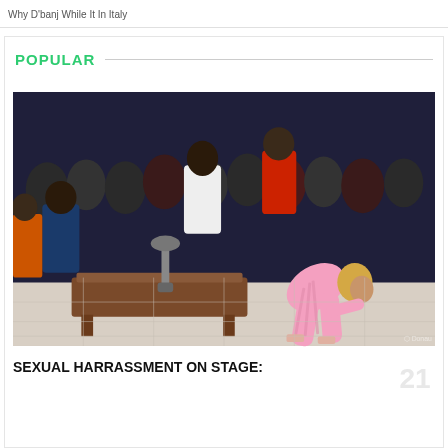Why D'banj While It In Italy
POPULAR
[Figure (photo): A woman in a pink striped outfit bending over on a stage or dance floor, with a crowd of spectators in the background watching in a nightclub setting.]
SEXUAL HARRASSMENT ON STAGE: